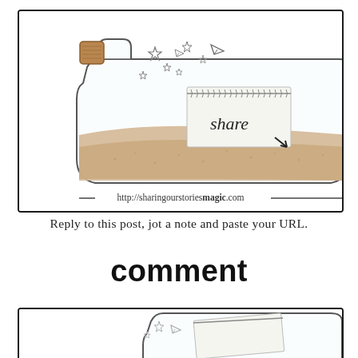[Figure (illustration): A glass bottle with a cork stopper filled with sand, containing a note that reads 'share', with stars and paper airplane doodles inside. Below the bottle is the URL: http://sharingourstoriesmagic.com]
Reply to this post, jot a note and paste your URL.
comment
[Figure (illustration): Partial view of another glass bottle lying on its side with a note inside, stars and paper airplane doodles visible, cropped at the bottom of the page.]